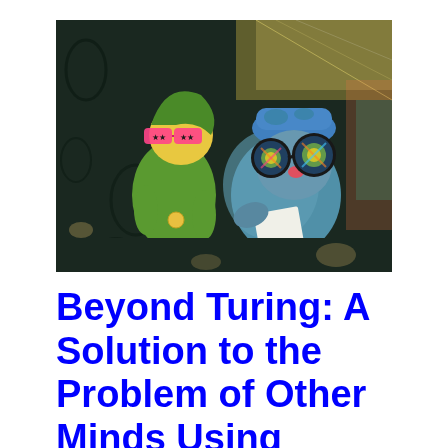[Figure (photo): Two stuffed toy figures sitting together on a dark patterned fabric. On the left is a yellow-green elf/Link-like plush wearing pink star-patterned novelty glasses. On the right is a blue fluffy cat or bear plush wearing large black-rimmed kaleidoscope glasses with colorful holographic lenses and a blue patterned hat. The background has holographic/iridescent material.]
Beyond Turing: A Solution to the Problem of Other Minds Using